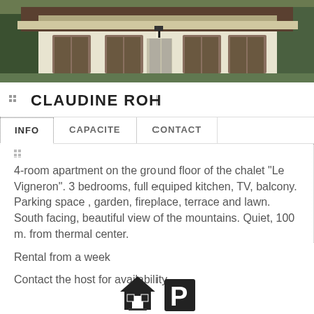[Figure (photo): Exterior photo of a chalet building with wooden shutters, white facade, and balcony with mountain setting]
CLAUDINE ROH
| INFO | CAPACITE | CONTACT |
| --- | --- | --- |
4-room apartment on the ground floor of the chalet "Le Vigneron". 3 bedrooms, full equiped kitchen, TV, balcony. Parking space , garden, fireplace, terrace and lawn. South facing, beautiful view of the mountains. Quiet, 100 m. from thermal center.
Rental from a week
Contact the host for availability
[Figure (illustration): Two icons at the bottom: a house/building icon and a parking P icon]